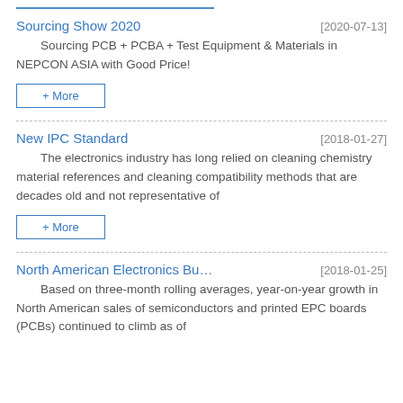Sourcing Show 2020 [2020-07-13]
Sourcing PCB + PCBA + Test Equipment & Materials in NEPCON ASIA with Good Price!
+ More
New IPC Standard [2018-01-27]
The electronics industry has long relied on cleaning chemistry material references and cleaning compatibility methods that are decades old and not representative of
+ More
North American Electronics Bu… [2018-01-25]
Based on three-month rolling averages, year-on-year growth in North American sales of semiconductors and printed EPC boards (PCBs) continued to climb as of